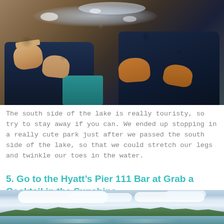[Figure (photo): Two people's bare feet in shallow water at the edge of a lake, wearing dark jeans, viewed from above looking down at their feet on wet rocky/sandy ground]
The south side of the lake is really touristy, so try to stay away if you can. We ended up stopping in a really cute park just after we passed the south side of the lake, so that we could stretch our legs and twinkle our toes in the water.
5. Go to the Hyatt’s Pier 111 Bar at Grab a Cocktail in the Sunshine.
[Figure (photo): Scenic lake view with mountains in the background, blue sky with white clouds reflecting on calm water]